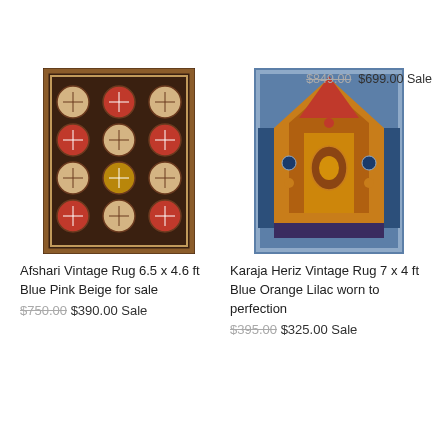$849.00  $699.00 Sale
[Figure (photo): Afshari vintage rug with geometric octagonal medallion pattern in dark brown, beige, and red tones]
[Figure (photo): Karaja Heriz vintage rug with large central medallion in golden orange and blue tones]
Afshari Vintage Rug 6.5 x 4.6 ft Blue Pink Beige for sale
$750.00  $390.00 Sale
Karaja Heriz Vintage Rug 7 x 4 ft Blue Orange Lilac worn to perfection
$395.00  $325.00 Sale